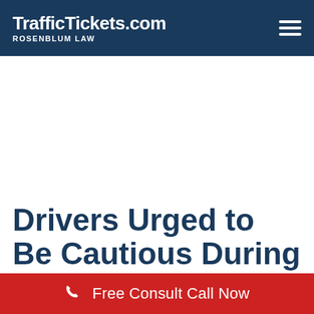TrafficTickets.com ROSENBLUM LAW
Drivers Urged to Be Cautious During National
Free Consult Call Now